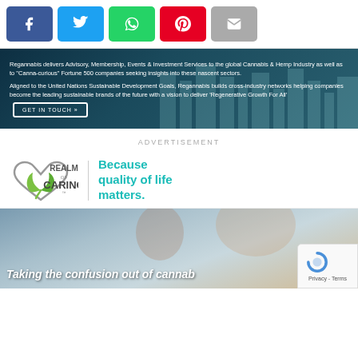[Figure (infographic): Social share buttons: Facebook (blue), Twitter (light blue), WhatsApp (green), Pinterest (red), Email (gray)]
[Figure (photo): Dark teal/navy banner ad for Regannabis showing city skyline background. Text: 'Regannabis delivers Advisory, Membership, Events & Investment Services to the global Cannabis & Hemp Industry as well as to "Canna-curious" Fortune 500 companies seeking insights into these nascent sectors. Aligned to the United Nations Sustainable Development Goals, Regannabis builds cross-industry networks helping companies become the leading sustainable brands of the future with a vision to deliver "Regenerative Growth For All"'. Has a 'GET IN TOUCH »' button.]
ADVERTISEMENT
[Figure (logo): Realm of Caring logo: green leaf heart shape with 'REALM OF CARING™' text, vertical divider, and teal tagline 'Because quality of life matters.']
[Figure (photo): Photo of a smiling boy with a woman (seen from behind, blonde hair) on a blurred background. Text overlay at bottom: 'Taking the confusion out of cannab...' (cannabis, partially cut off). Captcha overlay in bottom right corner.]